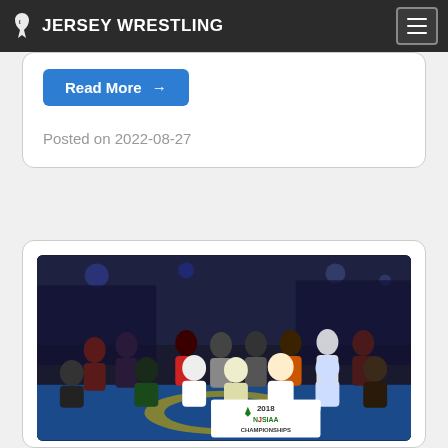JERSEY WRESTLING
Read More →
Posted on 2022-08-27
[Figure (photo): Group photo of wrestling team at the 2018 NJSIAA Championships, posed on the mat inside a large arena]